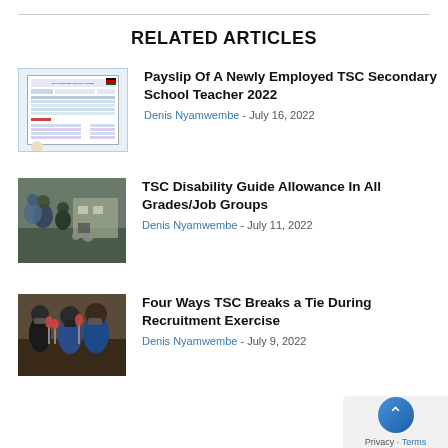RELATED ARTICLES
[Figure (screenshot): Thumbnail image of a payslip document with header and rows of financial data, with a small Kenyan flag in the corner]
Payslip Of A Newly Employed TSC Secondary School Teacher 2022
Denis Nyamwembe - July 16, 2022
[Figure (photo): Photo of students and a person in a wheelchair, outdoors near a building]
TSC Disability Guide Allowance In All Grades/Job Groups
Denis Nyamwembe - July 11, 2022
[Figure (photo): Photo of people wearing masks at a press conference, with microphones]
Four Ways TSC Breaks a Tie During Recruitment Exercise
Denis Nyamwembe - July 9, 2022